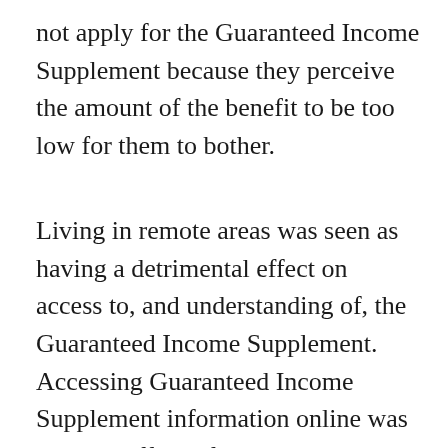not apply for the Guaranteed Income Supplement because they perceive the amount of the benefit to be too low for them to bother.
Living in remote areas was seen as having a detrimental effect on access to, and understanding of, the Guaranteed Income Supplement. Accessing Guaranteed Income Supplement information online was seen as difficult for some who live in remote areas, particularly for those in First Nations communities. Program staff noted that the move to put information online has resulted